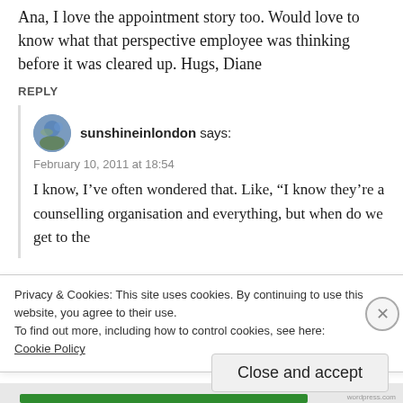Ana, I love the appointment story too. Would love to know what that perspective employee was thinking before it was cleared up. Hugs, Diane
REPLY
sunshineinlondon says:
February 10, 2011 at 18:54
I know, I’ve often wondered that. Like, “I know they’re a counselling organisation and everything, but when do we get to the
Privacy & Cookies: This site uses cookies. By continuing to use this website, you agree to their use.
To find out more, including how to control cookies, see here:
Cookie Policy
Close and accept